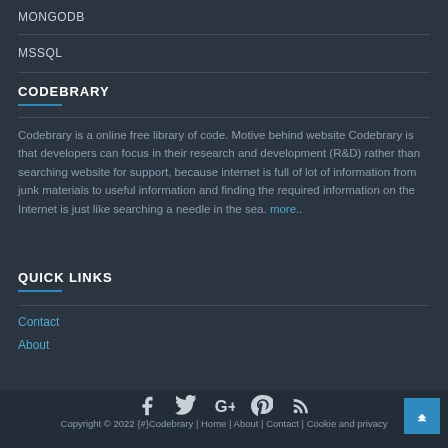MONGODB
MSSQL
CODEBRARY
Codebrary is a online free library of code. Motive behind website Codebrary is that developers can focus in their research and development (R&D) rather than searching website for support, because internet is full of lot of information from junk materials to useful information and finding the required information on the Internet is just like searching a needle in the sea. more..
QUICK LINKS
Contact
About
Copyright © 2022 {#}Codebrary | Home | About | Contact | Cookie and privacy